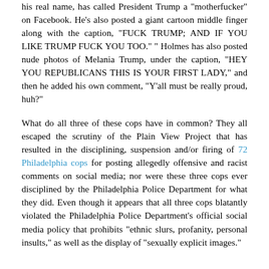his real name, has called President Trump a "motherfucker" on Facebook. He's also posted a giant cartoon middle finger along with the caption, "FUCK TRUMP; AND IF YOU LIKE TRUMP FUCK YOU TOO." " Holmes has also posted nude photos of Melania Trump, under the caption, "HEY YOU REPUBLICANS THIS IS YOUR FIRST LADY," and then he added his own comment, "Y'all must be really proud, huh?"
What do all three of these cops have in common? They all escaped the scrutiny of the Plain View Project that has resulted in the disciplining, suspension and/or firing of 72 Philadelphia cops for posting allegedly offensive and racist comments on social media; nor were these three cops ever disciplined by the Philadelphia Police Department for what they did. Even though it appears that all three cops blatantly violated the Philadelphia Police Department's official social media policy that prohibits "ethnic slurs, profanity, personal insults," as well as the display of "sexually explicit images."